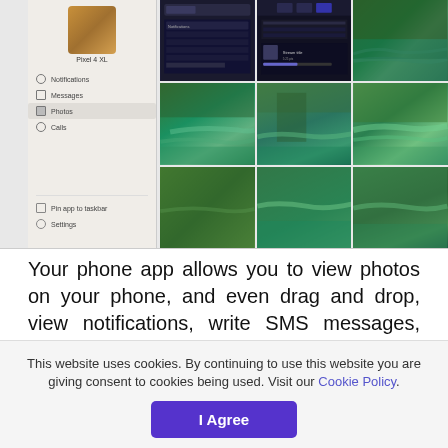[Figure (screenshot): Screenshot of a phone app interface showing a Pixel 4 XL device panel on the left with menu items (Notifications, Messages, Photos, Calls, Pin app to taskbar, Settings) and a grid of nature/river landscape photos on the right, arranged in a 3x3 grid]
Your phone app allows you to view photos on your phone, and even drag and drop, view notifications, write SMS messages, and make phone calls from your computer. Please install the companion software on your phone and activate it. It will currently only work with Android
This website uses cookies. By continuing to use this website you are giving consent to cookies being used. Visit our Cookie Policy.